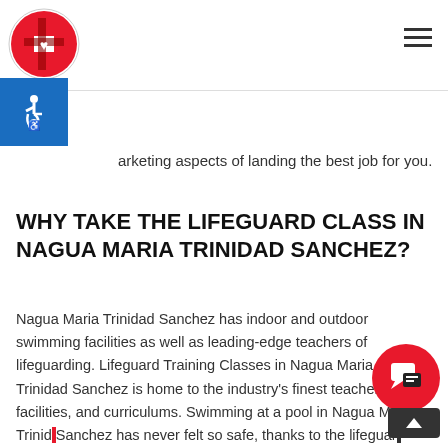[Figure (logo): American Training Classes circular logo with red and white design]
arketing aspects of landing the best job for you.
WHY TAKE THE LIFEGUARD CLASS IN NAGUA MARIA TRINIDAD SANCHEZ?
Nagua Maria Trinidad Sanchez has indoor and outdoor swimming facilities as well as leading-edge teachers of lifeguarding. Lifeguard Training Classes in Nagua Maria Trinidad Sanchez is home to the industry's finest teachers, facilities, and curriculums. Swimming at a pool in Nagua Maria Trinidad Sanchez has never felt so safe, thanks to the lifeguar...